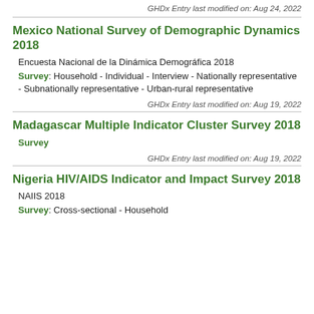GHDx Entry last modified on: Aug 24, 2022
Mexico National Survey of Demographic Dynamics 2018
Encuesta Nacional de la Dinámica Demográfica 2018
Survey: Household - Individual - Interview - Nationally representative - Subnationally representative - Urban-rural representative
GHDx Entry last modified on: Aug 19, 2022
Madagascar Multiple Indicator Cluster Survey 2018
Survey
GHDx Entry last modified on: Aug 19, 2022
Nigeria HIV/AIDS Indicator and Impact Survey 2018
NAIIS 2018
Survey: Cross-sectional - Household